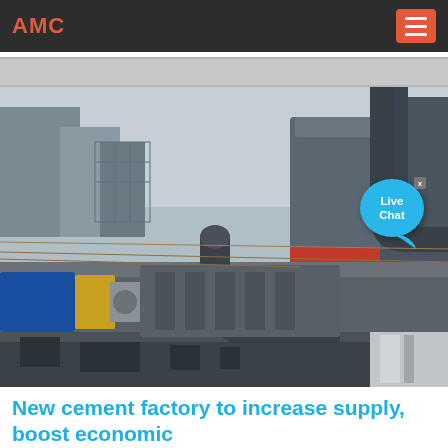AMC
[Figure (photo): Industrial cement factory machinery showing large pipes, cylindrical mills, and heavy industrial equipment photographed at an industrial plant]
New cement factory to increase supply, boost economic